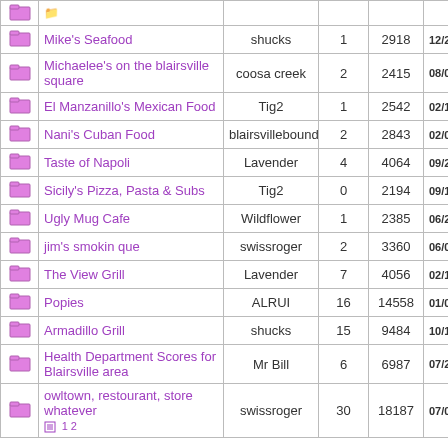|  | Name | Started by | Replies | Views | Last post |
| --- | --- | --- | --- | --- | --- |
| [icon] | Mike's Seafood | shucks | 1 | 2918 | 12/... |
| [icon] | Michaelee's on the blairsville square | coosa creek | 2 | 2415 | 08/0... |
| [icon] | El Manzanillo's Mexican Food | Tig2 | 1 | 2542 | 02/1... |
| [icon] | Nani's Cuban Food | blairsvillebound | 2 | 2843 | 02/0... |
| [icon] | Taste of Napoli | Lavender | 4 | 4064 | 09/... |
| [icon] | Sicily's Pizza, Pasta & Subs | Tig2 | 0 | 2194 | 09/... |
| [icon] | Ugly Mug Cafe | Wildflower | 1 | 2385 | 06/2... |
| [icon] | jim's smokin que | swissroger | 2 | 3360 | 06/0... |
| [icon] | The View Grill | Lavender | 7 | 4056 | 02/... |
| [icon] | Popies | ALRUI | 16 | 14558 | 01/0... |
| [icon] | Armadillo Grill | shucks | 15 | 9484 | 10/1... |
| [icon] | Health Department Scores for Blairsville area | Mr Bill | 6 | 6987 | 07/2... |
| [icon] | owltown, restourant, store whatever [pages: 1 2] | swissroger | 30 | 18187 | 07/0... |